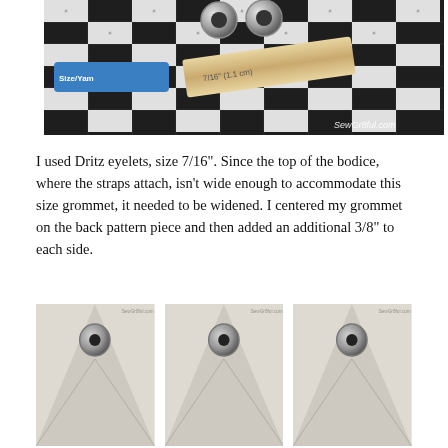[Figure (photo): Photo of Dritz eyelet/grommet setting tools on a black and white grid cutting mat, showing a blue tool, metal grommets, and a wooden spacer block labeled 7/16" (1.1 cm). Watermark reads SewGr8ful.com]
I used Dritz eyelets, size 7/16". Since the top of the bodice, where the straps attach, isn't wide enough to accommodate this size grommet, it needed to be widened. I centered my grommet on the back pattern piece and then added an additional 3/8" to each side.
[Figure (photo): Three photos showing grommets/eyelets installed in white/cream fabric with visible seam lines forming a V-shape below each grommet.]